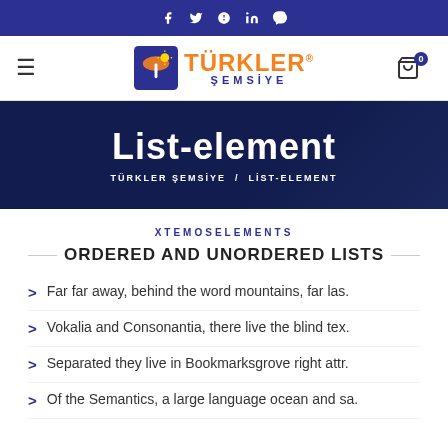Social icons bar: f, twitter, pinterest, linkedin, telegram
TÜRKLER ŞEMSİYE — nav bar with hamburger menu and cart (0 items)
List-element
TÜRKLER ŞEMSİYE / LİST-ELEMENT
XTEMOSELEMENTS
ORDERED AND UNORDERED LISTS
Far far away, behind the word mountains, far las.
Vokalia and Consonantia, there live the blind tex.
Separated they live in Bookmarksgrove right attr.
Of the Semantics, a large language ocean and sa.